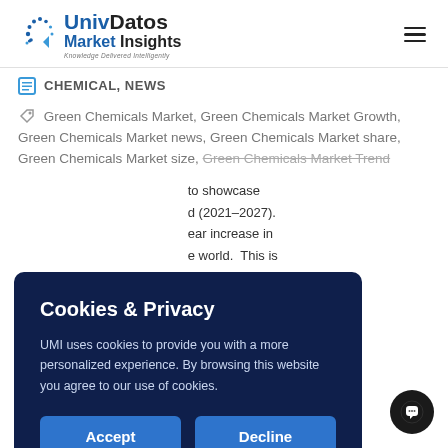UnivDatos Market Insights — Knowledge Delivered Intelligently
CHEMICAL, NEWS
Green Chemicals Market, Green Chemicals Market Growth, Green Chemicals Market news, Green Chemicals Market share, Green Chemicals Market size, Green Chemicals Market Trend
...to showcase period (2021-2027). ...ear increase in ...e world. This is ...avancement...
Cookies & Privacy
UMI uses cookies to provide you with a more personalized experience. By browsing this website you agree to our use of cookies.
[Accept] [Decline]